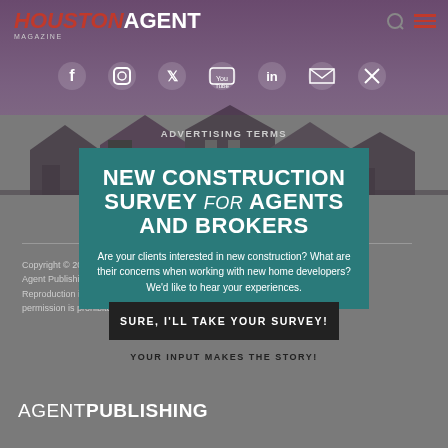[Figure (screenshot): Houston Agent Magazine website footer/popup page with teal survey modal overlay, social icons, navigation links, and Agent Publishing logo]
HOUSTON AGENT MAGAZINE
NEW CONSTRUCTION SURVEY for AGENTS AND BROKERS
Are your clients interested in new construction? What are their concerns when working with new home developers? We'd like to hear your experiences.
SURE, I'LL TAKE YOUR SURVEY!
YOUR INPUT MAKES THE STORY!
ADVERTISING TERMS
DIVERSITY, EQUITY AND INCLUSION
TERMS AND CONDITIONS  PRIVACY POLICY
COMMENT POLICY  CONTACT US  PRESS ROOM
Copyright © 2022 Houston Agent Magazine. An Agent Publishing Company. All rights reserved. Reproduction in whole or in part without permission is prohibited.
AGENT PUBLISHING